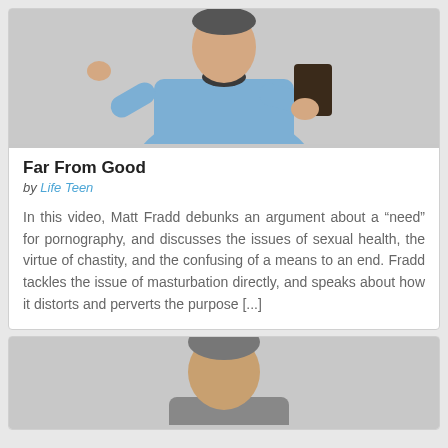[Figure (photo): Man in blue shirt holding a smartphone/tablet, gesturing with hands, light background]
Far From Good
by Life Teen
In this video, Matt Fradd debunks an argument about a “need” for pornography, and discusses the issues of sexual health, the virtue of chastity, and the confusing of a means to an end. Fradd tackles the issue of masturbation directly, and speaks about how it distorts and perverts the purpose [...]
[Figure (photo): Man with short hair, partial view from shoulders up, light background]